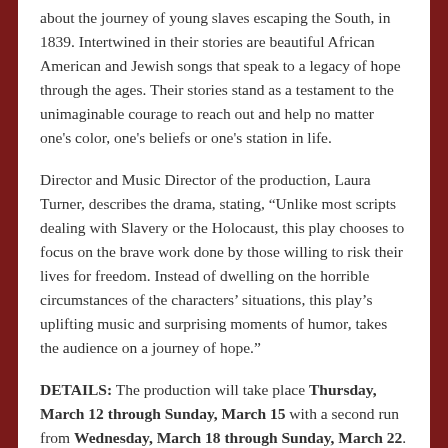about the journey of young slaves escaping the South, in 1839. Intertwined in their stories are beautiful African American and Jewish songs that speak to a legacy of hope through the ages. Their stories stand as a testament to the unimaginable courage to reach out and help no matter one's color, one's beliefs or one's station in life.
Director and Music Director of the production, Laura Turner, describes the drama, stating, “Unlike most scripts dealing with Slavery or the Holocaust, this play chooses to focus on the brave work done by those willing to risk their lives for freedom. Instead of dwelling on the horrible circumstances of the characters’ situations, this play’s uplifting music and surprising moments of humor, takes the audience on a journey of hope.”
DETAILS: The production will take place Thursday, March 12 through Sunday, March 15 with a second run from Wednesday, March 18 through Sunday, March 22. The performances will take place at the Chapel Theatre, 172 Calhoun St. Performances will begin at 7:30 p.m, except the Sunday shows, which will take place at 3:00 p.m. only. The